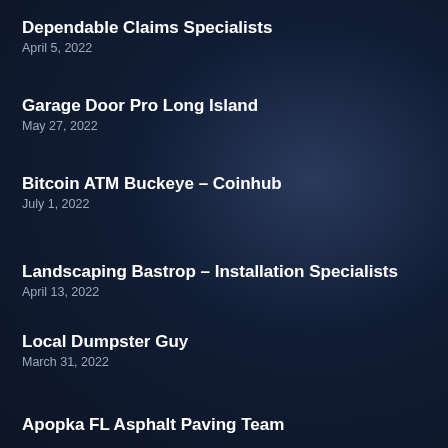Dependable Claims Specialists
April 5, 2022
Garage Door Pro Long Island
May 27, 2022
Bitcoin ATM Buckeye – Coinhub
July 1, 2022
Landscaping Bastrop – Installation Specialists
April 13, 2022
Local Dumpster Guy
March 31, 2022
Apopka FL Asphalt Paving Team